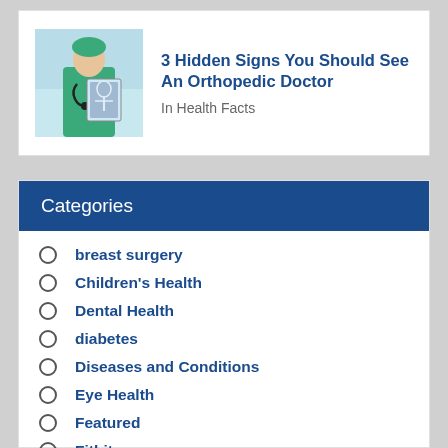[Figure (photo): Doctor in green scrubs holding an X-ray or medical image]
3 Hidden Signs You Should See An Orthopedic Doctor
In Health Facts
Categories
breast surgery
Children's Health
Dental Health
diabetes
Diseases and Conditions
Eye Health
Featured
Fitbit
For Medical Students
Hair Health
Health Facts